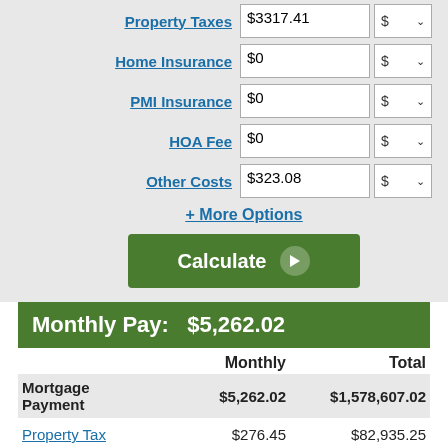Property Taxes $3317.41 $ ▾
Home Insurance $0 $ ▾
PMI Insurance $0 $ ▾
HOA Fee $0 $ ▾
Other Costs $323.08 $ ▾
+ More Options
Calculate
Monthly Pay:   $5,262.02
|  | Monthly | Total |
| --- | --- | --- |
| Mortgage Payment | $5,262.02 | $1,578,607.02 |
| Property Tax | $276.45 | $82,935.25 |
| Other Costs | $26.92 | $8,077.60 |